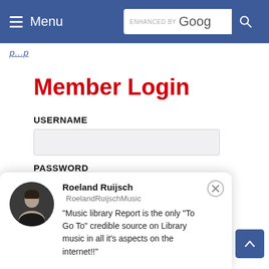Menu | ENHANCED BY Google [search]
p...p (partial navigation link text)
Member Login
USERNAME
PASSWORD
Remember me
[Figure (photo): Popup testimonial card with avatar photo of Roeland Ruijsch. Name: Roeland Ruijsch, handle: RoelandRuijschMusic. Quote: "Music library Report is the only "To Go To" credible source on Library music in all it's aspects on the internet!!"]